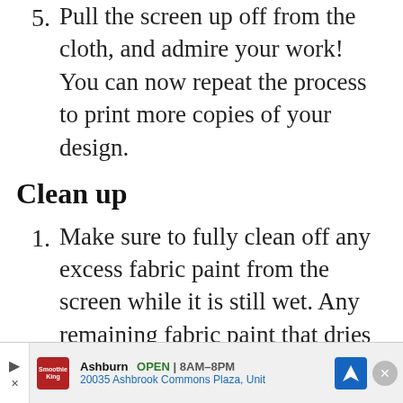5. Pull the screen up off from the cloth, and admire your work! You can now repeat the process to print more copies of your design.
Clean up
1. Make sure to fully clean off any excess fabric paint from the screen while it is still wet. Any remaining fabric paint that dries in the design area will block those areas from printing in the future. You can use water and a